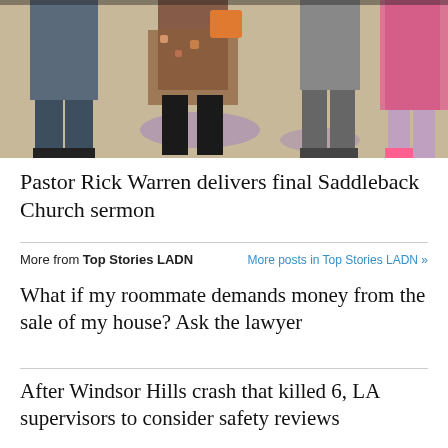[Figure (photo): Cropped photo showing lower bodies of people standing/dancing on a wooden/purple-lit floor, wearing various clothing including jeans, boots, and floral dress]
Pastor Rick Warren delivers final Saddleback Church sermon
More from Top Stories LADN   More posts in Top Stories LADN »
What if my roommate demands money from the sale of my house? Ask the lawyer
After Windsor Hills crash that killed 6, LA supervisors to consider safety reviews